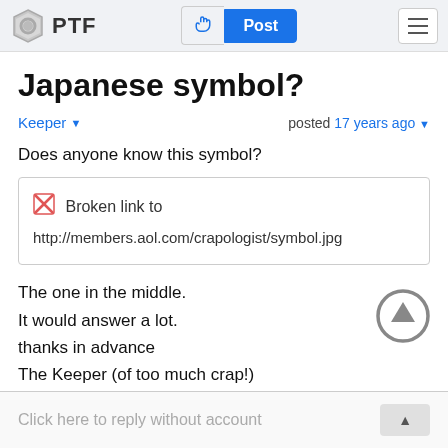PTF | Post
Japanese symbol?
Keeper ▾   posted 17 years ago ▾
Does anyone know this symbol?
[Figure (other): Broken image link box showing: Broken link to http://members.aol.com/crapologist/symbol.jpg]
The one in the middle.
It would answer a lot.
thanks in advance
The Keeper (of too much crap!)
Click here to reply without account